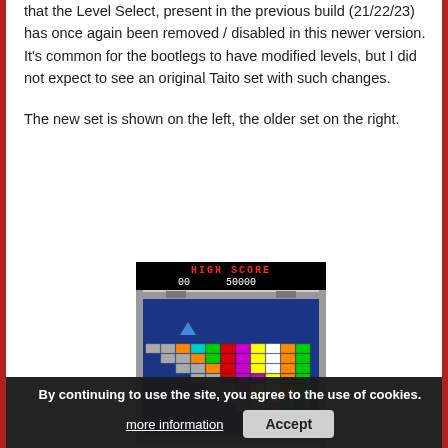that the Level Select, present in the previous build (21/22/23) has once again been removed / disabled in this newer version. It's common for the bootlegs to have modified levels, but I did not expect to see an original Taito set with such changes.
The new set is shown on the left, the older set on the right.
[Figure (screenshot): Screenshot of a Breakout/Arkanoid-style arcade game showing colored bricks arranged in a diagonal pattern on a dark blue background. The top shows 'HIGH SCORE' in red and '00  50000' in white. Colored bricks include orange, cyan, green, red, magenta, yellow, white, and gray.]
By continuing to use the site, you agree to the use of cookies.
more information   Accept